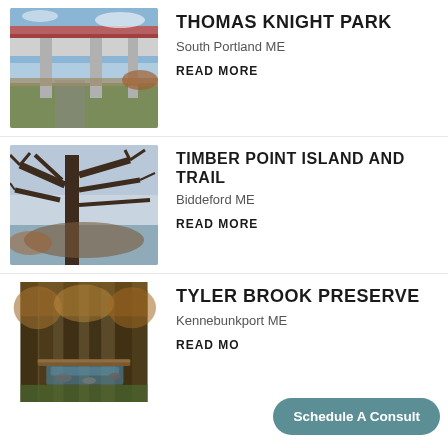[Figure (photo): Photo of a bridge with concrete pillars and a walking path, with dry grasses and plants.]
THOMAS KNIGHT PARK
South Portland ME
READ MORE
[Figure (photo): Photo of a large bare tree with sprawling branches against a winter sky, near water.]
TIMBER POINT ISLAND AND TRAIL
Biddeford ME
READ MORE
[Figure (photo): Photo of a forest scene with a wooden bridge or logs over a small stream with rocks.]
TYLER BROOK PRESERVE
Kennebunkport ME
READ MO
Schedule A Consult